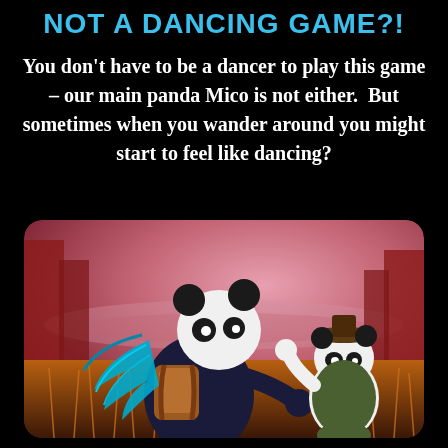NOT A DANCING GAME?!
You don't have to be a dancer to play this game – our main panda Mico is not either. But sometimes when you wander around you might start to feel like dancing?
[Figure (illustration): A video game screenshot showing two panda characters in an outdoor fantasy environment. The foreground panda has a brown backpack and blue feathered wings, facing another panda wearing a hat in a golden grass field with pink and orange atmospheric background.]